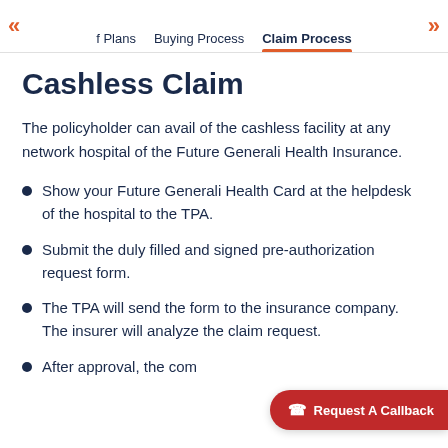f Plans   Buying Process   Claim Process
Cashless Claim
The policyholder can avail of the cashless facility at any network hospital of the Future Generali Health Insurance.
Show your Future Generali Health Card at the helpdesk of the hospital to the TPA.
Submit the duly filled and signed pre-authorization request form.
The TPA will send the form to the insurance company. The insurer will analyze the claim request.
After approval, the company will settle all the bills of the hospital.